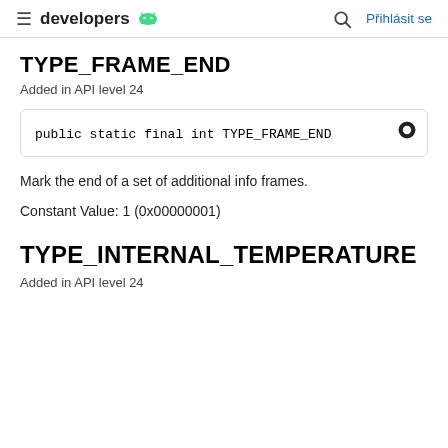developers | Přihlásit se
TYPE_FRAME_END
Added in API level 24
public static final int TYPE_FRAME_END
Mark the end of a set of additional info frames.
Constant Value: 1 (0x00000001)
TYPE_INTERNAL_TEMPERATURE
Added in API level 24